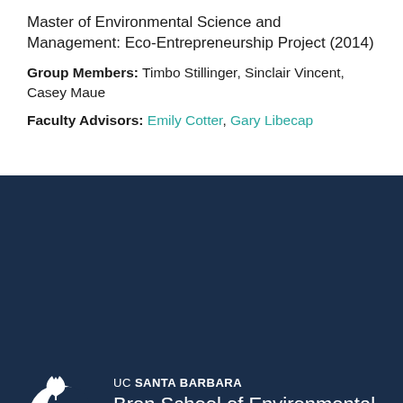Master of Environmental Science and Management: Eco-Entrepreneurship Project (2014)
Group Members: Timbo Stillinger, Sinclair Vincent, Casey Maue
Faculty Advisors: Emily Cotter, Gary Libecap
[Figure (logo): UC Santa Barbara Bren School of Environmental Science & Management logo — white oak leaf and crescent moon shape on dark navy background, with text 'UC SANTA BARBARA Bren School of Environmental Science & Management']
2400 Bren Hall
Santa Barbara, California 93106-5131
(805) 893-8452
info@bren.ucsb.edu